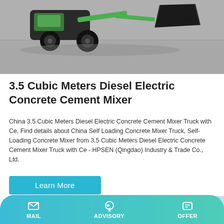[Figure (photo): Top portion of a self-loading concrete mixer truck on a gray surface, showing green mechanical arm and dark bucket/scoop attachment]
3.5 Cubic Meters Diesel Electric Concrete Cement Mixer
China 3.5 Cubic Meters Diesel Electric Concrete Cement Mixer Truck with Ce, Find details about China Self Loading Concrete Mixer Truck, Self-Loading Concrete Mixer from 3.5 Cubic Meters Diesel Electric Concrete Cement Mixer Truck with Ce - HPSEN (Qingdao) Industry & Trade Co., Ltd.
[Figure (other): Learn More button — teal/cyan colored rectangular button]
[Figure (photo): Bottom partial image showing industrial equipment (concrete mixer or silo) against a light blue sky, with a building on the left]
MAIL   ADVISORY   OFFER